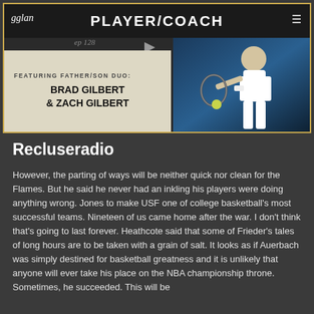[Figure (screenshot): Podcast episode card for 'Player/Coach' episode 128, featuring father/son duo Brad Gilbert and Zach Gilbert, with a tennis player photo on the right and gglan logo in top left]
Recluseradio
However, the parting of ways will be neither quick nor clean for the Flames. But he said he never had an inkling his players were doing anything wrong. Jones to make USF one of college basketball's most successful teams. Nineteen of us came home after the war. I don't think that's going to last forever. Heathcote said that some of Frieder's tales of long hours are to be taken with a grain of salt. It looks as if Auerbach was simply destined for basketball greatness and it is unlikely that anyone will ever take his place on the NBA championship throne. Sometimes, he succeeded. This will be